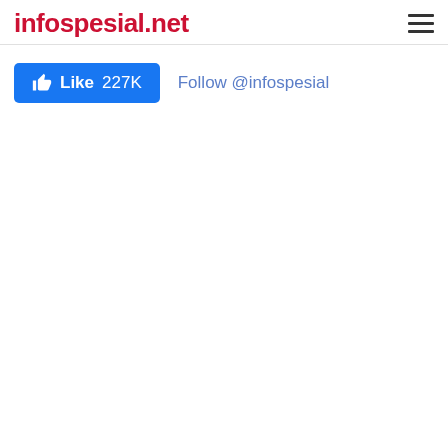infospesial.net
[Figure (infographic): Facebook Like button showing 227K likes and a Twitter Follow @infospesial link]
Follow @infospesial